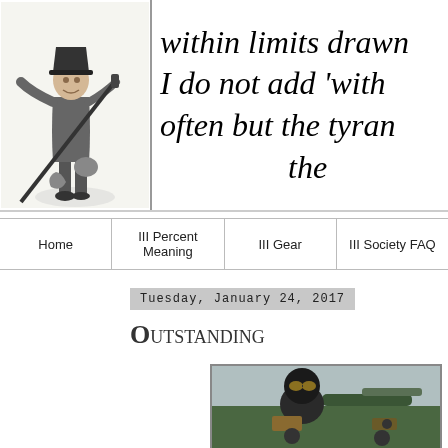[Figure (illustration): Banner image with colonial minuteman illustration on the left and italic serif text on the right reading: 'rightful liberty is... within limits drawn... I do not add 'with... often but the tyran... the']
Home | III Percent Meaning | III Gear | III Society FAQ
Tuesday, January 24, 2017
Outstanding
[Figure (photo): Person wearing a black balaclava helmet and gear, seated on or near a military-style green vehicle with equipment visible]